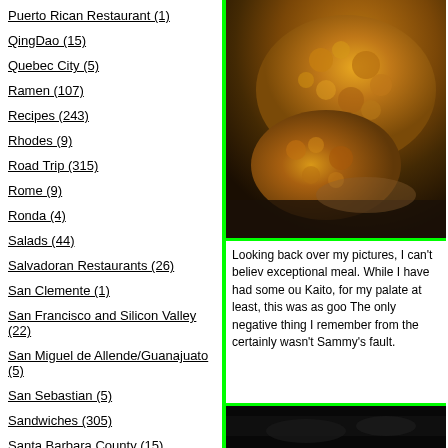Puerto Rican Restaurant (1)
QingDao (15)
Quebec City (5)
Ramen (107)
Recipes (243)
Rhodes (9)
Road Trip (315)
Rome (9)
Ronda (4)
Salads (44)
Salvadoran Restaurants (26)
San Clemente (1)
San Francisco and Silicon Valley (22)
San Miguel de Allende/Guanajuato (5)
San Sebastian (5)
Sandwiches (305)
Santa Barbara County (15)
Santiago, Chile (3)
[Figure (photo): Close-up photo of golden-brown fried or breaded food item, heavily textured surface, dark background]
Looking back over my pictures, I can't believe exceptional meal. While I have had some ou Kaito, for my palate at least, this was as goo The only negative thing I remember from the certainly wasn't Sammy's fault.
As I was finishing up – and enjoying a small made the most unusual sushi roll I have ever away from the computer screen NOW). So i through this post looking for pornography, he
[Figure (photo): Bottom partial photo, dark/black image, partially visible]